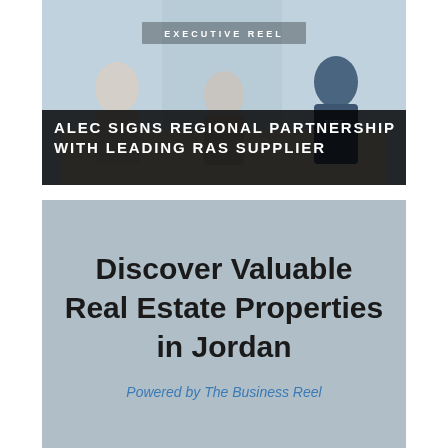[Figure (photo): Photo of three business people at a signing table with a banner reading EXECUTIVE REEL and title overlay: ALEC SIGNS REGIONAL PARTNERSHIP WITH LEADING RAS SUPPLIER]
[Figure (infographic): Light blue-grey card with large bold text: Discover Valuable Real Estate Properties in Jordan, and subtitle: Powered by The Business Reel]